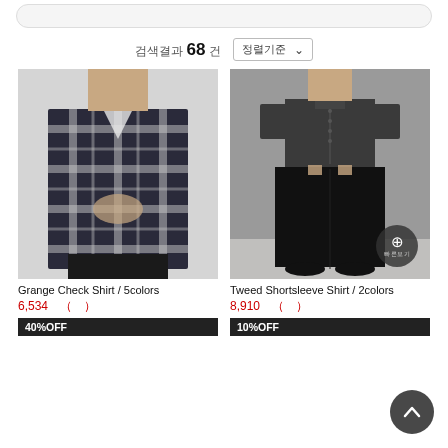검색결과 68건  |  정렬기준 ∨
[Figure (photo): Model wearing Grange Check Shirt (plaid flannel shirt in black and white) with black pants]
Grange Check Shirt / 5colors
6,534 （ ）
40%OFF
[Figure (photo): Model wearing Tweed Shortsleeve Shirt (dark grey short sleeve button-up shirt) with wide black pants and black shoes]
Tweed Shortsleeve Shirt / 2colors
8,910 （ ）
10%OFF